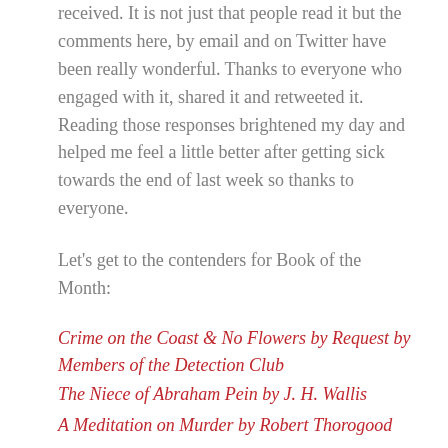received. It is not just that people read it but the comments here, by email and on Twitter have been really wonderful. Thanks to everyone who engaged with it, shared it and retweeted it. Reading those responses brightened my day and helped me feel a little better after getting sick towards the end of last week so thanks to everyone.
Let's get to the contenders for Book of the Month:
Crime on the Coast & No Flowers by Request by Members of the Detection Club
The Niece of Abraham Pein by J. H. Wallis
A Meditation on Murder by Robert Thorogood
A Study in Scarlet by Arthur Conan Doyle
Death in High Provence by George Bellairs
Murder Under... by Marie David H...